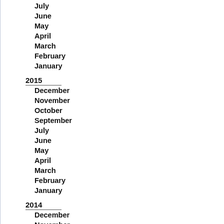July
June
May
April
March
February
January
2015
December
November
October
September
July
June
May
April
March
February
January
2014
December
November
October
September
August
July
June
May
April
March